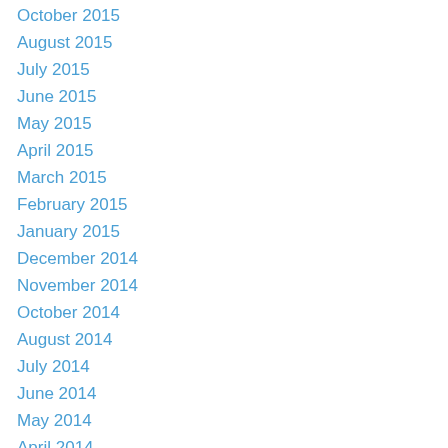October 2015
August 2015
July 2015
June 2015
May 2015
April 2015
March 2015
February 2015
January 2015
December 2014
November 2014
October 2014
August 2014
July 2014
June 2014
May 2014
April 2014
March 2014
February 2014
November 2013